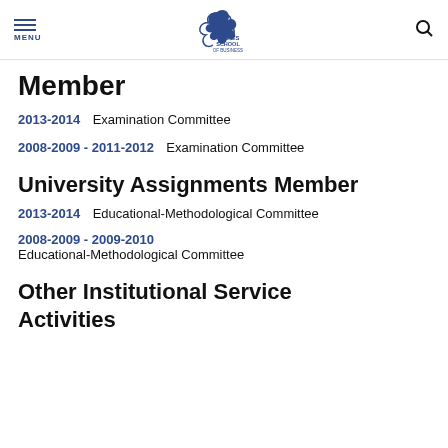MENU | Rennes School of Business - Unframed Thinking | Search
Member
2013-2014   Examination Committee
2008-2009 - 2011-2012   Examination Committee
University Assignments Member
2013-2014   Educational-Methodological Committee
2008-2009 - 2009-2010
Educational-Methodological Committee
Other Institutional Service Activities